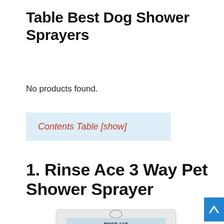Table Best Dog Shower Sprayers
No products found.
Contents Table [show]
1. Rinse Ace 3 Way Pet Shower Sprayer
[Figure (photo): Product photo of Rinse Ace 3 Way Pet Shower Sprayer in packaging, showing a golden retriever dog and a handheld shower sprayer with blue spray pattern]